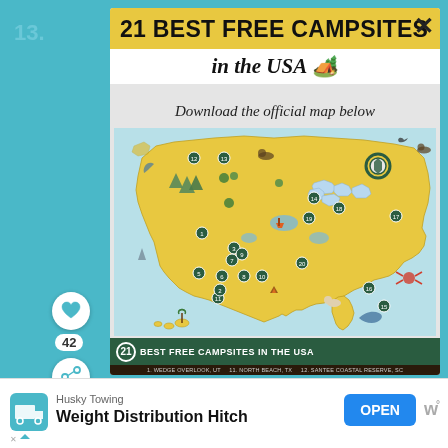13.
21 BEST FREE CAMPSITES
in the USA 🏕️
Download the official map below
[Figure (map): Illustrated map of the USA showing 21 best free campsites, with numbered locations marked across the country, yellow background with illustrated camping scenes, trees, lakes, and wildlife]
21 BEST FREE CAMPSITES IN THE USA
1. WEDGE OVERLOOK, UT    11. NORTH BEACH, TX    12. SANTEE COASTAL RESERVE, SC
Husky Towing
Weight Distribution Hitch
OPEN